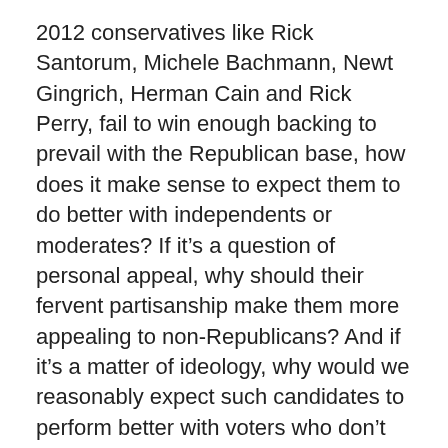2012 conservatives like Rick Santorum, Michele Bachmann, Newt Gingrich, Herman Cain and Rick Perry, fail to win enough backing to prevail with the Republican base, how does it make sense to expect them to do better with independents or moderates? If it’s a question of personal appeal, why should their fervent partisanship make them more appealing to non-Republicans? And if it’s a matter of ideology, why would we reasonably expect such candidates to perform better with voters who don’t share their conservative outlook than they would with voters who do?
This leaves one last argument to support the contention that strident right wingers make the strongest Republican contenders: the claim that Romney and McCain failed to beat Obama because their non-ideological campaigns led millions of disillusioned conservatives to stay home. Talk radio